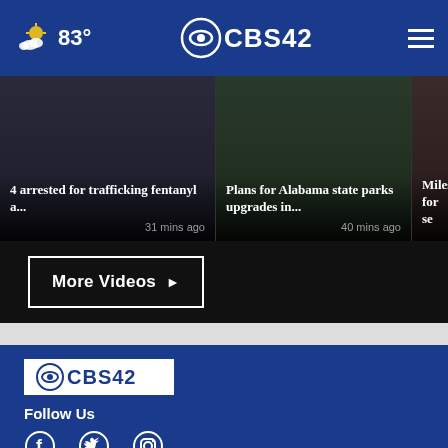83° CBS42
[Figure (screenshot): Video card: 4 arrested for trafficking fentanyl a... 31 mins ago]
[Figure (screenshot): Video card: Plans for Alabama state parks upgrades in... 40 mins ago]
[Figure (screenshot): Video card: Miles... for se...]
More Videos ▶
[Figure (logo): CBS 42 logo in footer]
Follow Us
[Figure (illustration): Social media icons: Facebook, Twitter, Instagram]